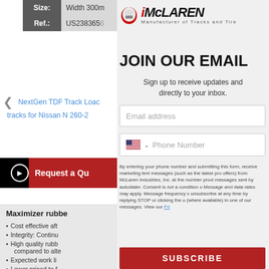| Label | Value |
| --- | --- |
| Size: | Width 300m |
| Ref.: | US238365 |
NextGen TDF Track Loader tracks for Nissan N 260-2
Request a Qu
[Figure (logo): McLaren Industries logo with helmet icon and text 'Manufacturer of Tracks and Tires']
JOIN OUR EMAIL
Sign up to receive updates and directly to your inbox.
Email address
Phone Number
By entering your phone number and submitting this form, receive marketing text messages (such as the latest pro offers) from McLaren Industries, Inc. at the number provi messages sent by autodialer. Consent is not a condition o Message and data rates may apply. Message frequency v unsubscribe at any time by replying STOP or clicking the u (where available) in one of our messages. View our Pri
Maximizer rubbe
Cost effective aft
Integrity: Contin
High quality rubb compared to alte
Expected work li
Lower priced to f restrictions
SUBSCRIBE